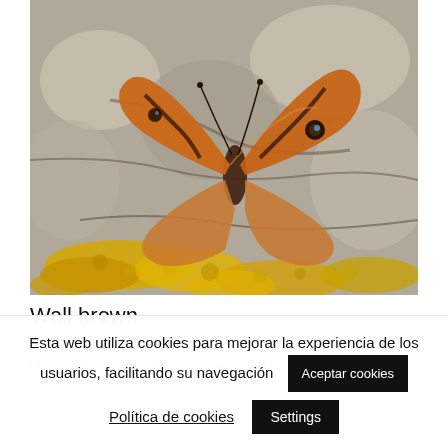[Figure (photo): Close-up photograph of a Wall brown butterfly resting on a rock covered with yellow-orange lichen. The butterfly has orange and brown patterned wings with visible eyespots. The rock surface is grey with patches of bright yellow/orange lichen.]
Wall brown
Although superficially similar to the speckled wood, the wall brown prefers open areas, above all waste- and bare ground, stony areas with
Esta web utiliza cookies para mejorar la experiencia de los usuarios, facilitando su navegación
Aceptar cookies
Política de cookies
Settings